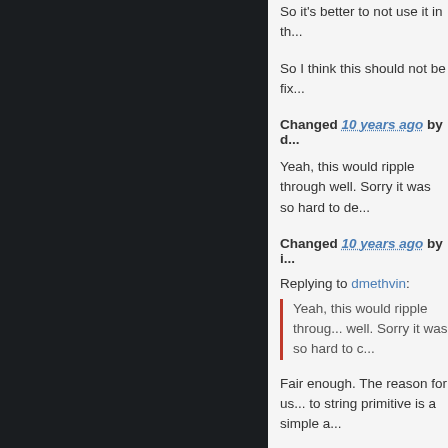So it's better to not use it in th...
So I think this should not be fix...
Changed 10 years ago by d...
Yeah, this would ripple through well. Sorry it was so hard to de...
Changed 10 years ago by i...
Replying to dmethvin:
Yeah, this would ripple throug... well. Sorry it was so hard to c...
Fair enough. The reason for us... to string primitive is a simple a...
Did not know about the 'instan... weirdness...